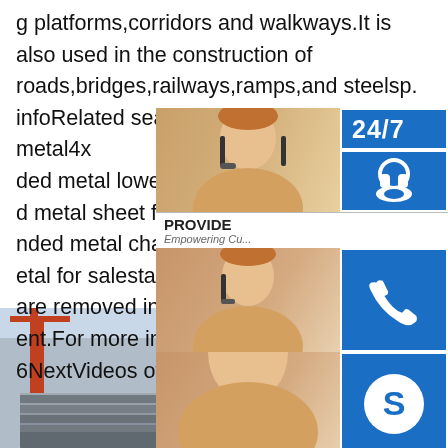g platforms,corridors and walkways.It is also used in the construction of roads,bridges,railways,ramps,and steelsp. infoRelated searches for steel expanded metal4x8 ded metal lowesexpanded metal 4x8 she d metal sheet for saleexpanded metal ne nded metal chartsteel expanded metal s etal for salestainless steel expanded m are removed in response to a notice of lo ent.For more information,please see her 6NextVideos of steel expanded metal
[Figure (infographic): Customer service widget showing 24/7 support icons (headset, phone, Skype), a photo of a customer service representative, PROVIDE/Empowering Customers text, and an 'online live' button]
[Figure (photo): Industrial scene showing stacked steel plates/sheets with cranes in the background]